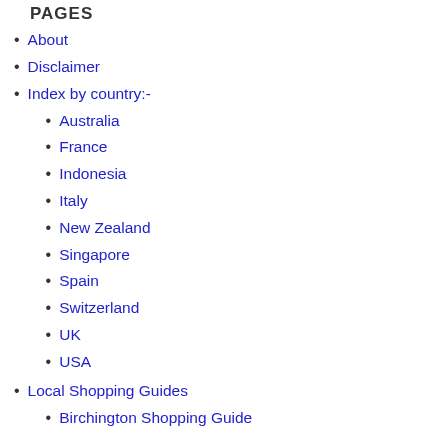PAGES
About
Disclaimer
Index by country:-
Australia
France
Indonesia
Italy
New Zealand
Singapore
Spain
Switzerland
UK
USA
Local Shopping Guides
Birchington Shopping Guide